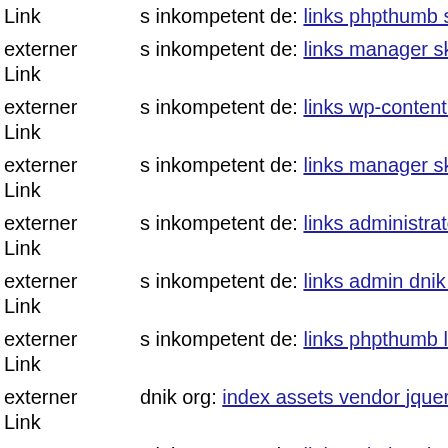externer Link s inkompetent de: links phpthumb style'' administration s i...
externer Link s inkompetent de: links manager skin wp-content plugins w...
externer Link s inkompetent de: links wp-content plugins mailcwp admin...
externer Link s inkompetent de: links manager skin wp-content plugins w...
externer Link s inkompetent de: links administrator includes s inkompete...
externer Link s inkompetent de: links admin dnik net
externer Link s inkompetent de: links phpthumb libraries phpthumb comp...
externer Link dnik org: index assets vendor jquery filer examples default...
externer Link s inkompetent de: links admin administrator administrator c...
externer Link s inkompetent de: links wp-content themes coffeebreak func...
externer Link s inkompetent de: links wp-content plugins formcraft file-u...
externer Link s inkompetent de: links app etc skin jwallpapers files pluploa...